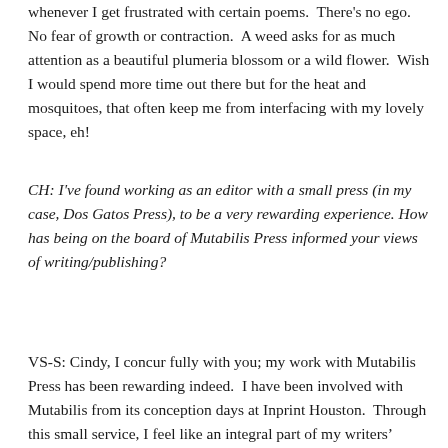whenever I get frustrated with certain poems.  There's no ego.  No fear of growth or contraction.  A weed asks for as much attention as a beautiful plumeria blossom or a wild flower.  Wish I would spend more time out there but for the heat and mosquitoes, that often keep me from interfacing with my lovely space, eh!
CH: I've found working as an editor with a small press (in my case, Dos Gatos Press), to be a very rewarding experience. How has being on the board of Mutabilis Press informed your views of writing/publishing?
VS-S: Cindy, I concur fully with you; my work with Mutabilis Press has been rewarding indeed.  I have been involved with Mutabilis from its conception days at Inprint Houston.  Through this small service, I feel like an integral part of my writers' family here and elsewhere.  I've come to understand and appreciate the arduous process of selecting for an anthology through reading pages and pages of submitted